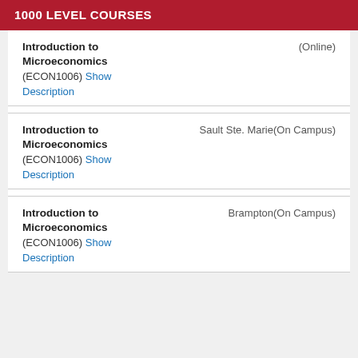1000 LEVEL COURSES
Introduction to Microeconomics (ECON1006) Show Description (Online)
Introduction to Microeconomics (ECON1006) Show Description Sault Ste. Marie(On Campus)
Introduction to Microeconomics (ECON1006) Show Description Brampton(On Campus)